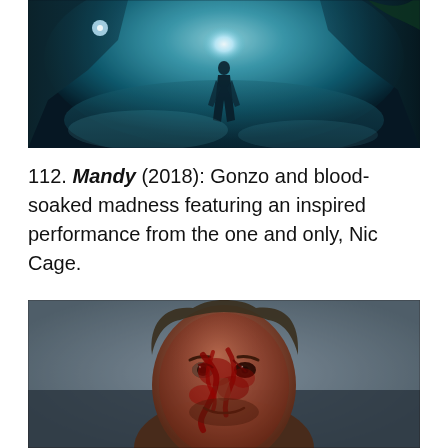[Figure (photo): Atmospheric teal-tinted cinematic still from Mandy (2018): a figure stands in a dark, foggy cave or forest setting with glowing light behind them]
112. Mandy (2018): Gonzo and blood-soaked madness featuring an inspired performance from the one and only, Nic Cage.
[Figure (photo): Close-up photo of Nicolas Cage's character from Mandy (2018), face covered in blood, staring directly at camera against a grey blurred background]